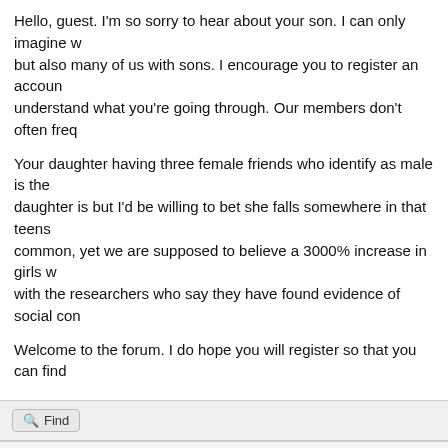Hello, guest. I'm so sorry to hear about your son. I can only imagine w... but also many of us with sons. I encourage you to register an accoun... understand what you're going through. Our members don't often freq...
Your daughter having three female friends who identify as male is the... daughter is but I'd be willing to bet she falls somewhere in that teens ... common, yet we are supposed to believe a 3000% increase in girls w... with the researchers who say they have found evidence of social con...
Welcome to the forum. I do hope you will register so that you can find...
Find
GNCMom
Member
03-Dec-2020, 12:07 AM
Hello, I don't know what I'm replying to, how do I make a new post?
Find